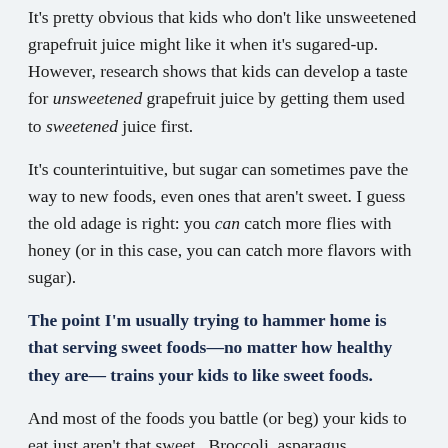It's pretty obvious that kids who don't like unsweetened grapefruit juice might like it when it's sugared-up. However, research shows that kids can develop a taste for unsweetened grapefruit juice by getting them used to sweetened juice first.
It's counterintuitive, but sugar can sometimes pave the way to new foods, even ones that aren't sweet. I guess the old adage is right: you can catch more flies with honey (or in this case, you can catch more flavors with sugar).
The point I'm usually trying to hammer home is that serving sweet foods—no matter how healthy they are— trains your kids to like sweet foods.
And most of the foods you battle (or beg) your kids to eat just aren't that sweet.  Broccoli, asparagus, cauliflower…  Read Training Tiny Taste Buds